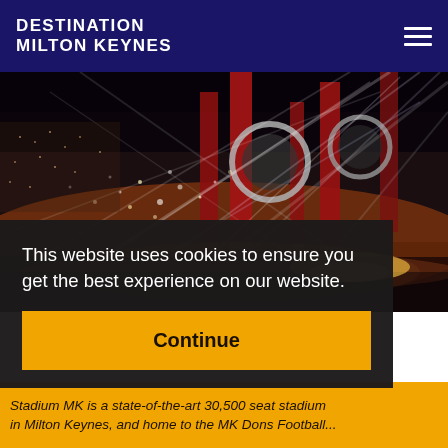DESTINATION MILTON KEYNES
[Figure (photo): A large stadium concert at night with dramatic spotlights, confetti, red stage structures, large circular speaker rigs, and a packed crowd.]
This website uses cookies to ensure you get the best experience on our website.
Continue
Stadium MK is a state-of-the-art 30,500 seat stadium in Milton Keynes, and home to the MK Dons Football...